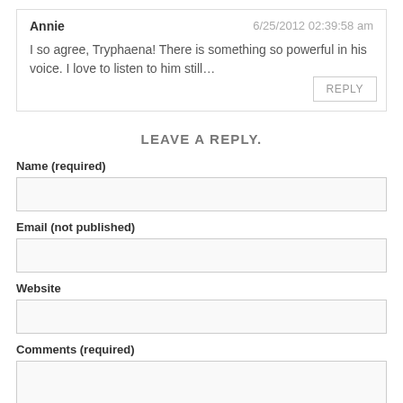Annie — 6/25/2012 02:39:58 am
I so agree, Tryphaena! There is something so powerful in his voice. I love to listen to him still…
REPLY
LEAVE A REPLY.
Name (required)
Email (not published)
Website
Comments (required)